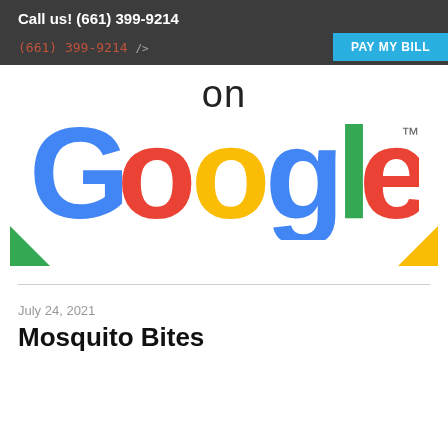Call us! (661) 399-9214
(661) 399-9214
[Figure (logo): Google logo with 'on' text above and decorative corner triangles (green bottom-left, yellow bottom-right). Google text rendered in brand colors: blue G, red o, yellow o, blue g, green l, red e with TM mark.]
July 24, 2021
Mosquito Bites